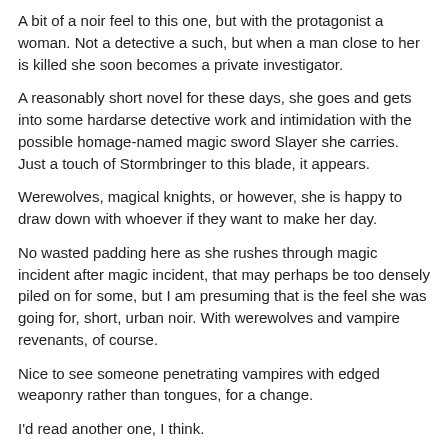A bit of a noir feel to this one, but with the protagonist a woman. Not a detective a such, but when a man close to her is killed she soon becomes a private investigator.
A reasonably short novel for these days, she goes and gets into some hardarse detective work and intimidation with the possible homage-named magic sword Slayer she carries. Just a touch of Stormbringer to this blade, it appears.
Werewolves, magical knights, or however, she is happy to draw down with whoever if they want to make her day.
No wasted padding here as she rushes through magic incident after magic incident, that may perhaps be too densely piled on for some, but I am presuming that is the feel she was going for, short, urban noir. With werewolves and vampire revenants, of course.
Nice to see someone penetrating vampires with edged weaponry rather than tongues, for a change.
I'd read another one, I think.